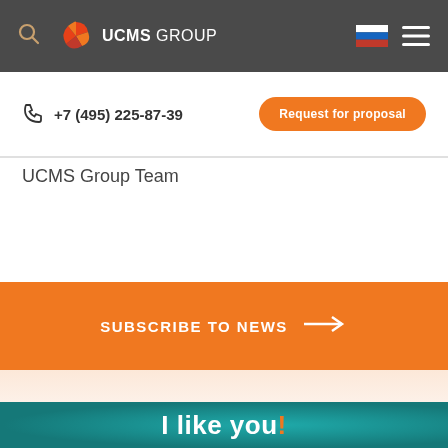UCMS GROUP — navigation bar with search icon, logo, Russian flag, and hamburger menu
+7 (495) 225-87-39
Request for proposal
UCMS Group Team
SUBSCRIBE TO NEWS →
I like you!